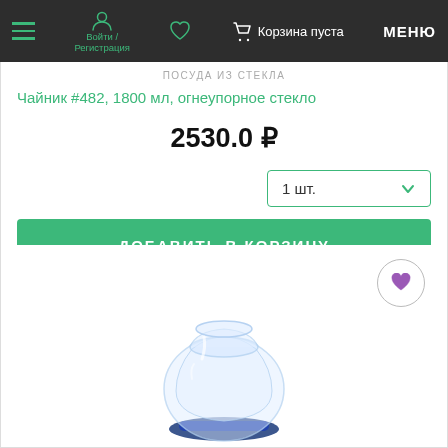Войти / Регистрация   Корзина пуста   МЕНЮ
ПОСУДА ИЗ СТЕКЛА
Чайник #482, 1800 мл, огнеупорное стекло
2530.0 ₽
1 шт.
ДОБАВИТЬ В КОРЗИНУ
[Figure (photo): Glass teapot/vase with round bulbous body and blue base, on white background]